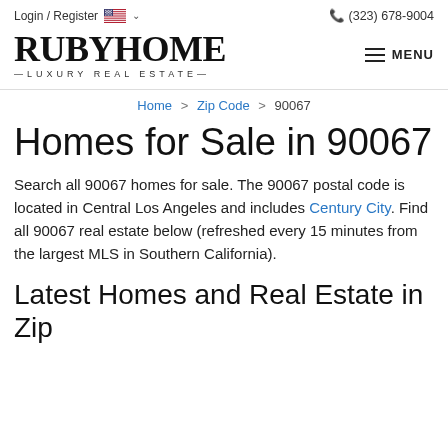Login / Register  🇺🇸 ∨    📞 (323) 678-9004
[Figure (logo): RubyHome Luxury Real Estate logo with serif wordmark and tagline]
Home > Zip Code > 90067
Homes for Sale in 90067
Search all 90067 homes for sale. The 90067 postal code is located in Central Los Angeles and includes Century City. Find all 90067 real estate below (refreshed every 15 minutes from the largest MLS in Southern California).
Latest Homes and Real Estate in Zip